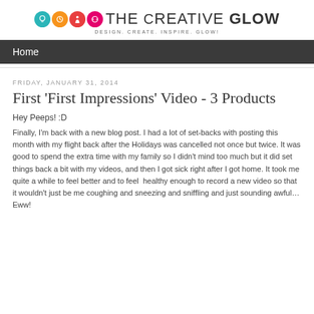THE CREATIVE GLOW — DESIGN. CREATE. INSPIRE. GLOW!
Home
FRIDAY, JANUARY 31, 2014
First 'First Impressions' Video - 3 Products
Hey Peeps! :D
Finally, I'm back with a new blog post. I had a lot of set-backs with posting this month with my flight back after the Holidays was cancelled not once but twice. It was good to spend the extra time with my family so I didn't mind too much but it did set things back a bit with my videos, and then I got sick right after I got home. It took me quite a while to feel better and to feel  healthy enough to record a new video so that it wouldn't just be me coughing and sneezing and sniffling and just sounding awful… Eww!